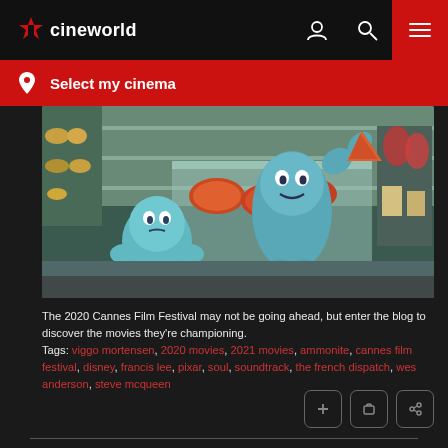cineworld
Select my cinema
[Figure (screenshot): Animated scene from Pixar's Soul showing two blue soul characters near a bakery/food display case]
The 2020 Cannes Film Festival may not be going ahead, but enter the blog to discover the movies they're championing.
Tags: viggo mortensen, 2020 movies, 2021 movies, ammonite, cannes film festival, disney, francis lee, pixar, soul, soundtrack, the french dispatch, wes anderson, steve mcqueen